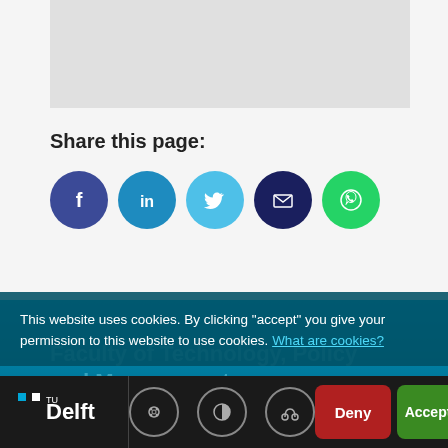[Figure (illustration): Grey placeholder image area at top of page]
Share this page:
[Figure (infographic): Row of five social media share icons: Facebook (dark blue), LinkedIn (medium blue), Twitter (light blue), Email (dark navy), WhatsApp (green)]
[Figure (illustration): Blue gradient footer band with Faculty of Technology, Policy and Management text and partial social icons row]
This website uses cookies. By clicking "accept" you give your permission to this website to use cookies. What are cookies?
[Figure (screenshot): Bottom bar with TU Delft logo, cookie/contrast/headphone icons, Deny and Accept buttons]